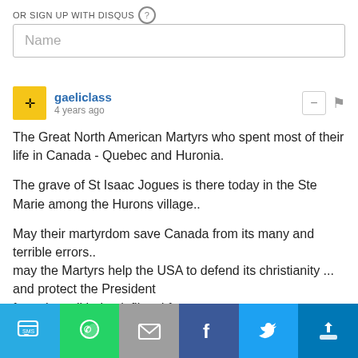OR SIGN UP WITH DISQUS ?
Name
gaeliclass
4 years ago
The Great North American Martyrs who spent most of their life in Canada - Quebec and Huronia.

The grave of St Isaac Jogues is there today in the Ste Marie among the Hurons village..

May their martyrdom save Canada from its many and terrible errors..
may the Martyrs help the USA to defend its christianity ... and protect the President
from the evil being inflicted from every corner..
2 ↑ | ↓ Reply
[Figure (infographic): Social share bar with 6 buttons: SMS (blue), WhatsApp (green), Email (grey), Facebook (dark blue), Twitter (light blue), and another icon (teal/blue)]